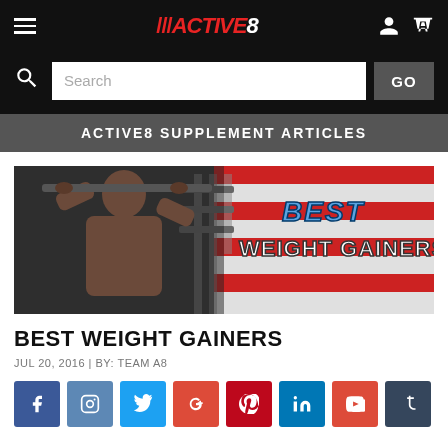///ACTIVE8 — navigation bar with hamburger menu, logo, user and cart icons
Search GO
ACTIVE8 SUPPLEMENT ARTICLES
[Figure (photo): Muscular man doing pull-ups at a gym with American flag in background; text overlay reads 'BEST WEIGHT GAINERS']
BEST WEIGHT GAINERS
JUL 20, 2016 | BY: TEAM A8
Social share buttons: Facebook, Instagram, Twitter, Google+, Pinterest, LinkedIn, YouTube, Tumblr